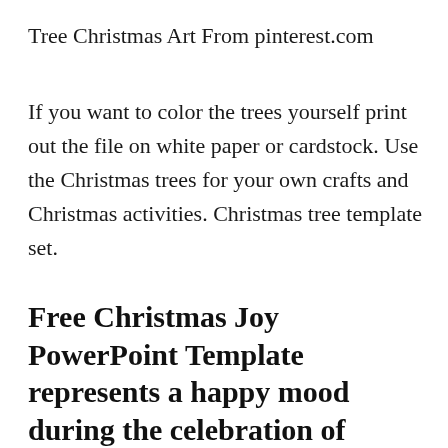Tree Christmas Art From pinterest.com
If you want to color the trees yourself print out the file on white paper or cardstock. Use the Christmas trees for your own crafts and Christmas activities. Christmas tree template set.
Free Christmas Joy PowerPoint Template represents a happy mood during the celebration of Christmas New⊗Year season